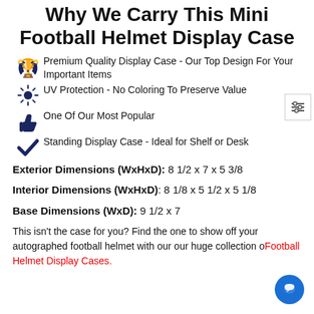Why We Carry This Mini Football Helmet Display Case
Premium Quality Display Case - Our Top Design For Your Important Items
UV Protection - No Coloring To Preserve Value
One Of Our Most Popular
Standing Display Case - Ideal for Shelf or Desk
Exterior Dimensions (WxHxD): 8 1/2 x 7 x 5 3/8
Interior Dimensions (WxHxD): 8 1/8 x 5 1/2 x 5 1/8
Base Dimensions (WxD): 9 1/2 x 7
This isn't the case for you? Find the one to show off your autographed football helmet with our our huge collection of Football Helmet Display Cases.